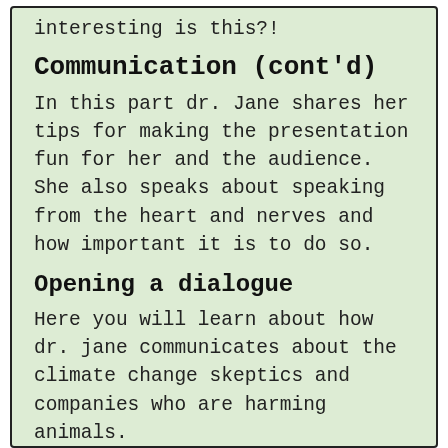interesting is this?!
Communication (cont'd)
In this part dr. Jane shares her tips for making the presentation fun for her and the audience. She also speaks about speaking from the heart and nerves and how important it is to do so.
Opening a dialogue
Here you will learn about how dr. jane communicates about the climate change skeptics and companies who are harming animals.
The next generation